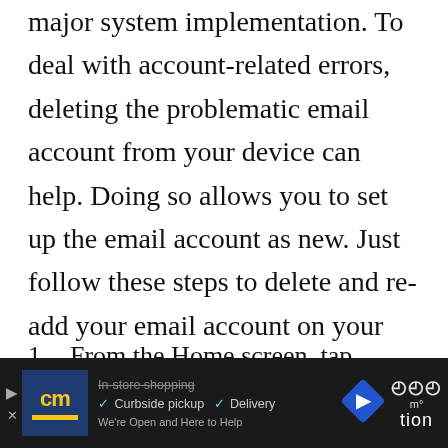major system implementation. To deal with account-related errors, deleting the problematic email account from your device can help. Doing so allows you to set up the email account as new. Just follow these steps to delete and re-add your email account on your iPhone XR:
From the Home screen, tap Settings.
Select Passwords & Accounts.
[Figure (other): Advertisement banner at bottom of page with dark background, cm logo, store pickup/delivery options, navigation arrow icon, and temperature widget]